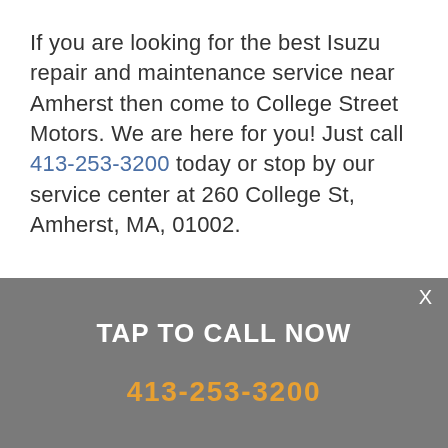If you are looking for the best Isuzu repair and maintenance service near Amherst then come to College Street Motors. We are here for you! Just call 413-253-3200 today or stop by our service center at 260 College St, Amherst, MA, 01002.
X
TAP TO CALL NOW
413-253-3200